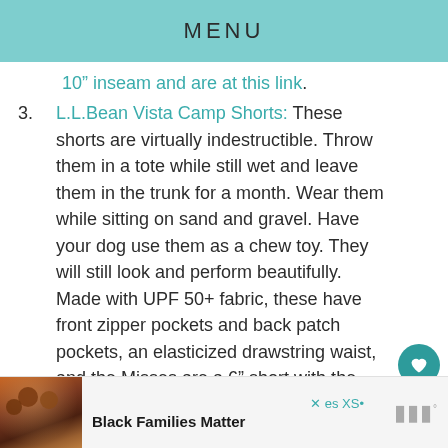MENU
10” inseam and are at this link.
3. L.L.Bean Vista Camp Shorts: These shorts are virtually indestructible. Throw them in a tote while still wet and leave them in the trunk for a month. Wear them while sitting on sand and gravel. Have your dog use them as a chew toy. They will still look and perform beautifully. Made with UPF 50+ fabric, these have front zipper pockets and back patch pockets, an elasticized drawstring waist, and the Misses are a 6” short with the Plus at a…
[Figure (photo): Advertisement banner at bottom showing a photo of a family (Black Families Matter ad) with brand logo on the right]